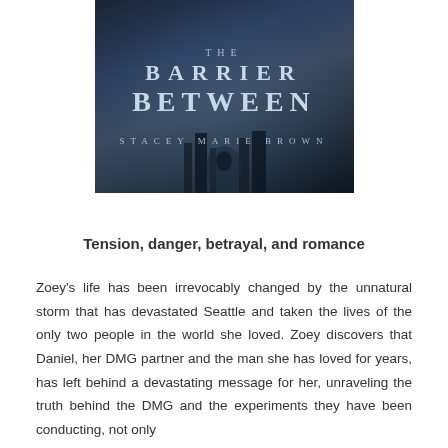[Figure (illustration): Book cover of 'The Barrier Between' by Stacey Marie Brown. Dark atmospheric cover with misty/smoky blue-grey tones, city silhouettes, figures in background, with title text 'THE BARRIER BETWEEN' and author name 'STACEY MARIE BROWN'.]
Tension, danger, betrayal, and romance
Zoey's life has been irrevocably changed by the unnatural storm that has devastated Seattle and taken the lives of the only two people in the world she loved. Zoey discovers that Daniel, her DMG partner and the man she has loved for years, has left behind a devastating message for her, unraveling the truth behind the DMG and the experiments they have been conducting, not only